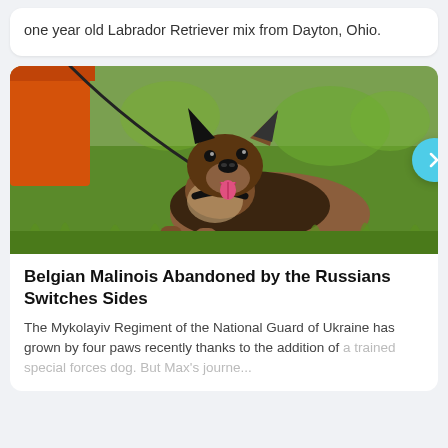one year old Labrador Retriever mix from Dayton, Ohio.
[Figure (photo): A Belgian Malinois dog lying on green grass, looking upward with mouth open and tongue out, wearing a black collar with a leash, with an orange structure visible in the background.]
Belgian Malinois Abandoned by the Russians Switches Sides
The Mykolayiv Regiment of the National Guard of Ukraine has grown by four paws recently thanks to the addition of a trained special forces dog. But Max's journe...